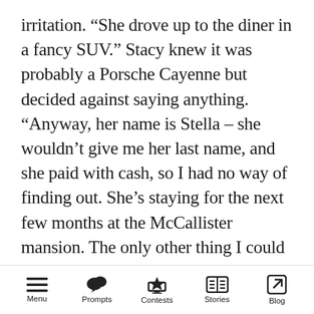irritation. “She drove up to the diner in a fancy SUV.” Stacy knew it was probably a Porsche Cayenne but decided against saying anything. “Anyway, her name is Stella – she wouldn’t give me her last name, and she paid with cash, so I had no way of finding out. She’s staying for the next few months at the McCallister mansion. The only other thing I could find out is that it appears she’s from Connecticut, which is a long way from Pelago Bay, Maine.” With that, Marge sat back in her chair and took a satisfying sip of her whiskey sour. She was relishing this moment but trying not to show it.
The cell phone picture was passed around, and
Menu  Prompts  Contests  Stories  Blog